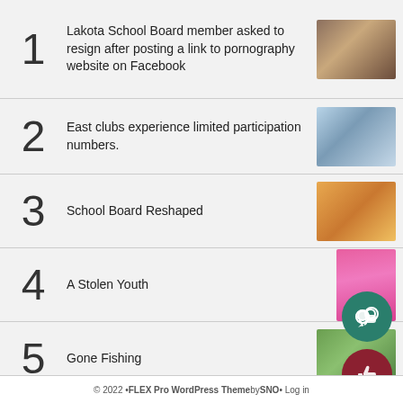1 Lakota School Board member asked to resign after posting a link to pornography website on Facebook
2 East clubs experience limited participation numbers.
3 School Board Reshaped
4 A Stolen Youth
5 Gone Fishing
© 2022 • FLEX Pro WordPress Theme by SNO • Log in